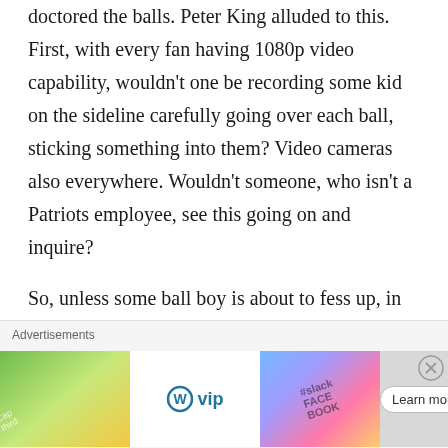doctored the balls. Peter King alluded to this. First, with every fan having 1080p video capability, wouldn't one be recording some kid on the sideline carefully going over each ball, sticking something into them? Video cameras also everywhere. Wouldn't someone, who isn't a Patriots employee, see this going on and inquire?

So, unless some ball boy is about to fess up, in which case they could hit
[Figure (other): Advertisement banner showing WordPress VIP logo alongside colorful card graphics for Slack, Facebook and other services, with a 'Learn more →' button]